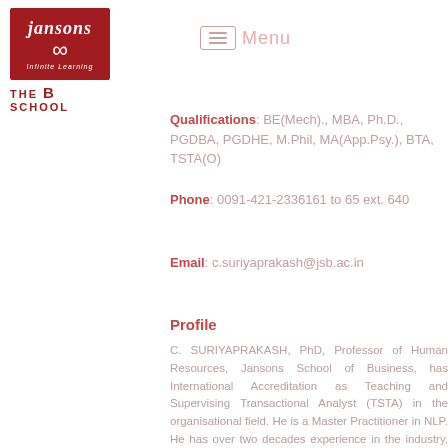[Figure (logo): Jansons Infinite Learning logo - red square with cursive brand name and infinity symbol, with text THE B SCHOOL below]
Menu
Qualifications: BE(Mech)., MBA, Ph.D., PGDBA, PGDHE, M.Phil, MA(App.Psy.), BTA, TSTA(O)
Phone: 0091-421-2336161 to 65 ext. 640
Email: c.suriyaprakash@jsb.ac.in
Profile
C. SURIYAPRAKASH, PhD, Professor of Human Resources, Jansons School of Business, has International Accreditation as Teaching and Supervising Transactional Analyst (TSTA) in the organisational field. He is a Master Practitioner in NLP. He has over two decades experience in the industry, teaching MBAs, and Industrial HR